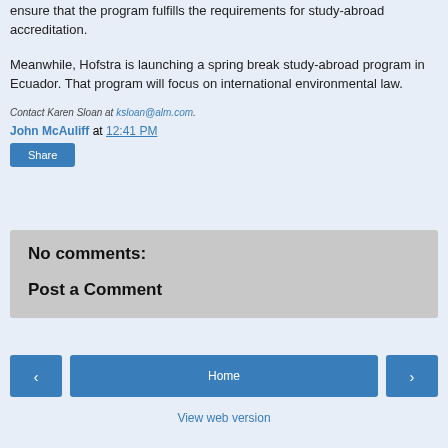ensure that the program fulfills the requirements for study-abroad accreditation.
Meanwhile, Hofstra is launching a spring break study-abroad program in Ecuador. That program will focus on international environmental law.
Contact Karen Sloan at ksloan@alm.com.
John McAuliff at 12:41 PM
Share
No comments:
Post a Comment
Home
View web version